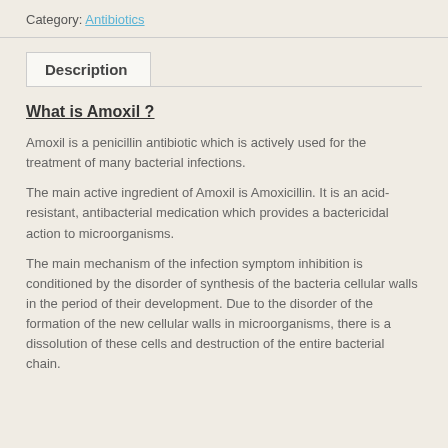Category: Antibiotics
Description
What is Amoxil ?
Amoxil is a penicillin antibiotic which is actively used for the treatment of many bacterial infections.
The main active ingredient of Amoxil is Amoxicillin. It is an acid-resistant, antibacterial medication which provides a bactericidal action to microorganisms.
The main mechanism of the infection symptom inhibition is conditioned by the disorder of synthesis of the bacteria cellular walls in the period of their development. Due to the disorder of the formation of the new cellular walls in microorganisms, there is a dissolution of these cells and destruction of the entire bacterial chain.